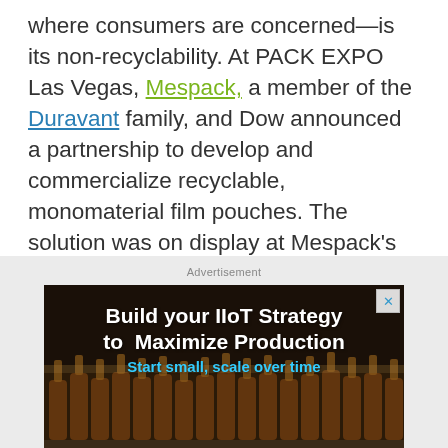where consumers are concerned—is its non-recyclability. At PACK EXPO Las Vegas, Mespack, a member of the Duravant family, and Dow announced a partnership to develop and commercialize recyclable, monomaterial film pouches. The solution was on display at Mespack's booth, C-4118.
Advertisement
[Figure (photo): Advertisement banner showing brown glass bottles on a production line with text 'Build your IIoT Strategy to Maximize Production' and subtext 'Start small, scale over time']